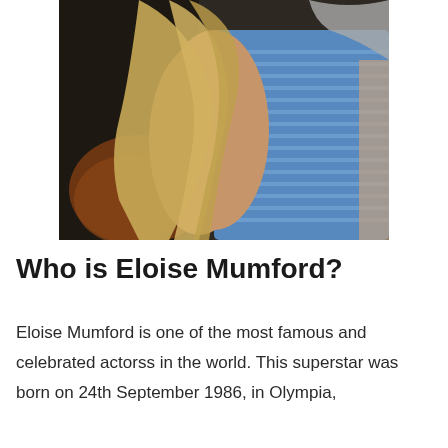[Figure (photo): A blurry close-up photo of a person with long blonde hair wearing a blue striped dress/top, photographed from behind/side at an angle. Dark background.]
Who is Eloise Mumford?
Eloise Mumford is one of the most famous and celebrated actorss in the world. This superstar was born on 24th September 1986, in Olympia,